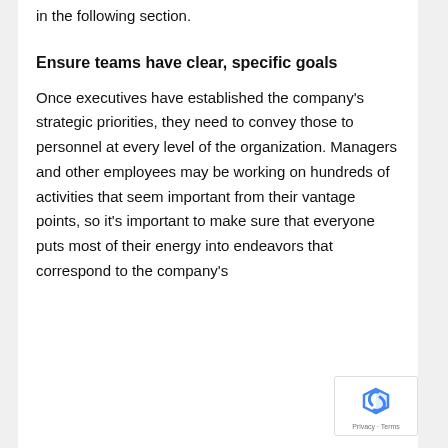in the following section.
Ensure teams have clear, specific goals
Once executives have established the company's strategic priorities, they need to convey those to personnel at every level of the organization. Managers and other employees may be working on hundreds of activities that seem important from their vantage points, so it's important to make sure that everyone puts most of their energy into endeavors that correspond to the company's